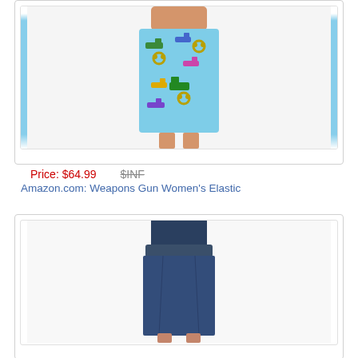[Figure (photo): Woman wearing a light blue pencil skirt with colorful weapons (guns, brass knuckles) pattern printed on it]
Price: $64.99   $INF
Amazon.com: Weapons Gun Women's Elastic
[Figure (photo): Woman wearing a solid navy blue pencil skirt]